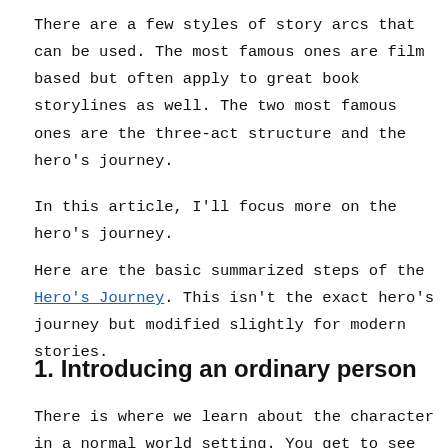There are a few styles of story arcs that can be used. The most famous ones are film based but often apply to great book storylines as well. The two most famous ones are the three-act structure and the hero's journey.
In this article, I'll focus more on the hero's journey.
Here are the basic summarized steps of the Hero's Journey. This isn't the exact hero's journey but modified slightly for modern stories.
1. Introducing an ordinary person
There is where we learn about the character in a normal world setting. You get to see the character as a typical